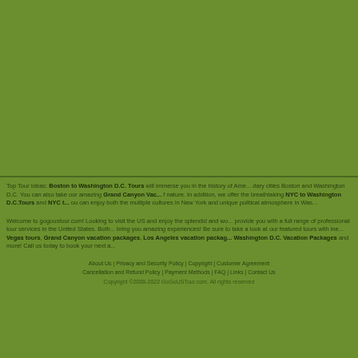[Figure (other): Large solid olive/green background area filling the top portion of the page]
Top Tour Ideas: Boston to Washington D.C. Tours will immerse you in the history of America's two legendary cities Boston and Washington D.C. You can also take our amazing Grand Canyon Vacation Packages to enjoy f nature. In addition, we offer the breathtaking NYC to Washington D.C.Tours and NYC t... ou can enjoy both the multiple cultures in New York and unique political atmosphere in Was...
Welcome to gogoustour.com! Looking to visit the US and enjoy the splendid and wo... provide you with a full range of professional tour services in the United States. Both... bring you amazing experiences! Be sure to take a look at our featured tours with ine... Vegas tours, Grand Canyon vacation packages, Los Angeles vacation packa... Washington D.C. Vacation Packages and more! Call us today to book your next a...
About Us | Privacy and Security Policy | Copyright | Customer Agreement Cancellation and Refund Policy | Payment Methods | FAQ | Links | Contact Us
Copyright ©2008-2022 GoGoUSTour.com. All rights reserved